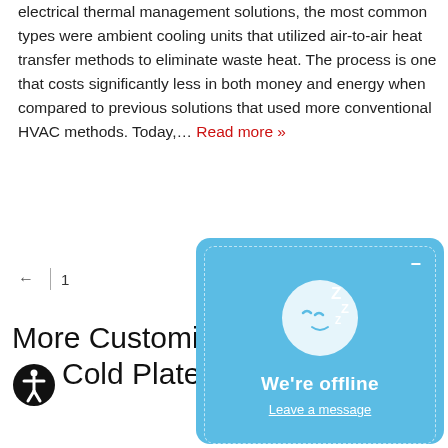electrical thermal management solutions, the most common types were ambient cooling units that utilized air-to-air heat transfer methods to eliminate waste heat. The process is one that costs significantly less in both money and energy when compared to previous solutions that used more conventional HVAC methods. Today,… Read more »
← 1
More Customiz… Cold Plates
[Figure (other): Chat popup overlay showing a sleeping face emoji with Zs, text 'We're offline' and 'Leave a message' link on a blue background with dashed border]